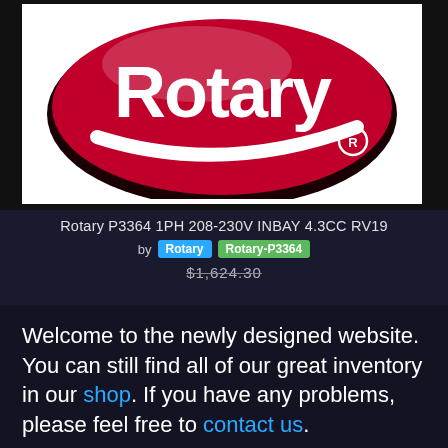[Figure (logo): Rotary brand logo — red oval with white Rotary text and registered trademark symbol]
Rotary P3364 1PH 208-230V INBAY 4.3CC RV19
by Rotary Rotary-P3364
$1,624.30
Welcome to the newly designed website. You can still find all of our great inventory in our shop. If you have any problems, please feel free to contact us.
Thanks! Don't remind me again.